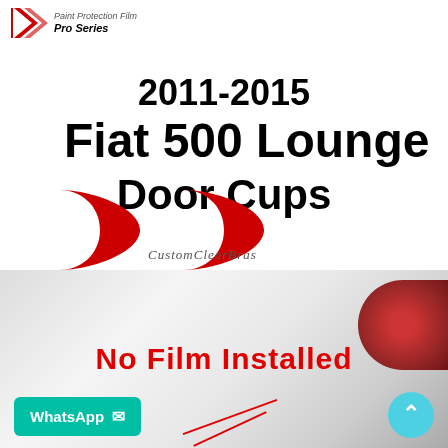[Figure (logo): Paint Protection Film Pro Series logo with red chevron/arrow graphic and italic text]
2011-2015
Fiat 500 Lounge
Door Cups
[Figure (illustration): Two red hourglass/door-cup shaped cutout pieces side by side representing paint protection film pieces]
CustomClearBras
[Figure (photo): Photo of rear of white Fiat 500 Lounge car with red tail light visible, showing the door area with no film installed]
No Film Installed
WhatsApp